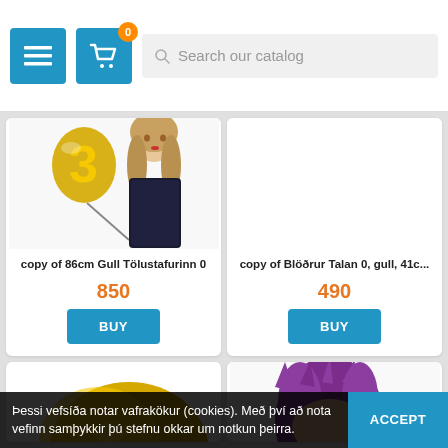[Figure (screenshot): E-commerce website header with hamburger menu button, shopping cart icon with badge showing 0, and search bar reading 'Search our catalog']
[Figure (photo): Woman in black sequin dress holding a gold number 3 foil balloon — product image for 86cm Gull Tölustafurinn 0]
copy of 86cm Gull Tölustafurinn 0
850
BUY
[Figure (photo): White/blank product image area for copy of Blöðrur Talan 0, gull, 41c...]
copy of Blöðrur Talan 0, gull, 41c...
490
BUY
[Figure (photo): Partial image of a gold star/flower shaped balloon at bottom left]
[Figure (photo): Partial image of a person with purple spiky hair at bottom right]
Þessi vefsíða notar vafrakökur (cookies). Með því að nota vefinn samþykkir þú stefnu okkar um notkun þeirra.
ACCEPT